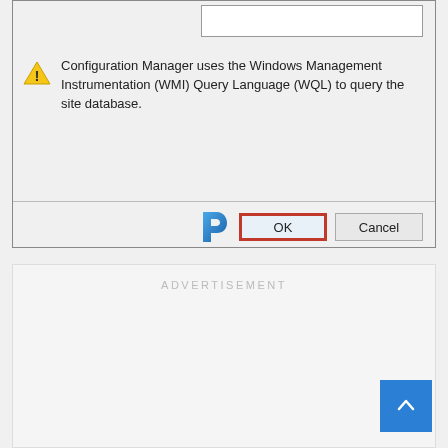[Figure (screenshot): A Windows dialog box showing a warning message: 'Configuration Manager uses the Windows Management Instrumentation (WMI) Query Language (WQL) to query the site database.' with a warning icon, and buttons OK (highlighted with red border) and Cancel. A blue stylized 'P' logo is visible near the buttons.]
ADVERTISEMENT